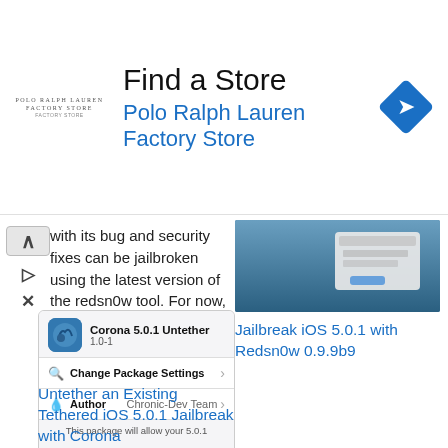[Figure (infographic): Advertisement banner: Find a Store - Polo Ralph Lauren Factory Store with navigation icon]
...with its bug and security fixes can be jailbroken using the latest version of the redsn0w tool. For now, this is still a
[Figure (screenshot): Screenshot of macOS desktop with dialog box]
Jailbreak iOS 5.0.1 with Redsn0w 0.9.9b9
[Figure (screenshot): Screenshot of Cydia package: Corona 5.0.1 Untether, version 1.0-1, with Change Package Settings and Author: Chronic-Dev Team options]
Untether an Existing Tethered iOS 5.0.1 Jailbreak with Corona